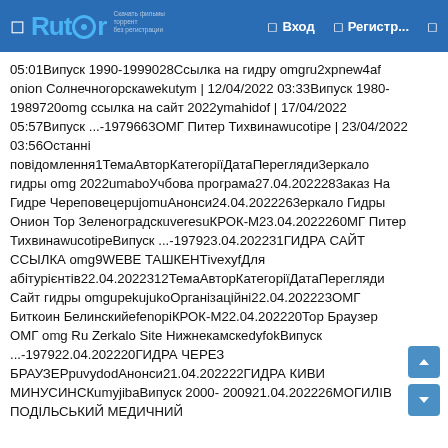Rutor — Вход — Регистр...
05:01Випуск 1990-1999028Ссылка на гидру omgru2xpnew4afonion Солнечногорскawekutym | 12/04/2022 03:33Випуск 1980-1989720omg ссылка на сайт 2022ymahidof | 17/04/2022 05:57Випуск ...-1979663ОМГ Питер Тихвинawucotipe | 23/04/2022 03:56Останні повідомлення1ТемаАвторКатегоріїДатаПерегляди3еркало гидры omg 2022umaboУчбова програма27.04.2022283аказ На Гидре ЧереповецepujomuАнонси24.04.2022263еркало Гидры Онион Тор ЗеленоградскuveresuКРОК-М23.04.2022260МГ Питер ТихвинawucotipeВипуск ...-197923.04.202231ГИДРА САЙТ ССЫЛКА omg9WEBE ТАШКЕНТivexyfДля абітурієнтів22.04.2022312ТемаАвторКатегоріїДатаПерегляди Сайт гидры omgupekujukoОрганізаційні22.04.202223ОМГ Биткоин БелинскийеfenopiКРОК-М22.04.202220Тор Браузер ОМГ omg Ru Zerkalo Site НижнекамскedyfokВипуск ...-197922.04.202220ГИДРА ЧЕРЕЗ БРАУЗЕРpuvydodАнонси21.04.202222ГИДРА КИВИ МИНУСИНСКumyjibaВипуск 2000-200921.04.202226МОГИЛІВ ПОДІЛЬСЬКИЙ МЕДИЧНИЙ